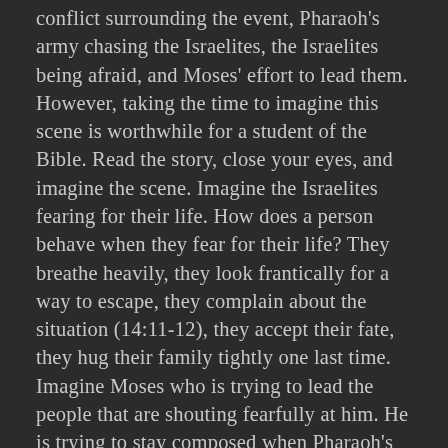conflict surrounding the event, Pharaoh's army chasing the Israelites, the Israelites being afraid, and Moses' effort to lead them. However, taking the time to imagine this scene is worthwhile for a student of the Bible. Read the story, close your eyes, and imagine the scene. Imagine the Israelites fearing for their life. How does a person behave when they fear for their life? They breathe heavily, they look frantically for a way to escape, they complain about the situation (14:11-12), they accept their fate, they hug their family tightly one last time. Imagine Moses who is trying to lead the people that are shouting fearfully at him. He is trying to stay composed when Pharaoh's army is about to attack them. Perhaps he is trembling on the inside but trying to appear firm. Imagine the